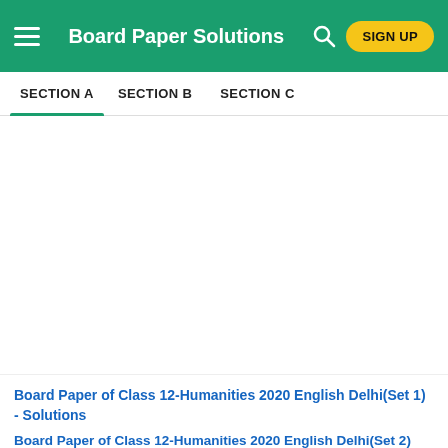Board Paper Solutions
SECTION A   SECTION B   SECTION C
Board Paper of Class 12-Humanities 2020 English Delhi(Set 1) - Solutions
Board Paper of Class 12-Humanities 2020 English Delhi(Set 2)